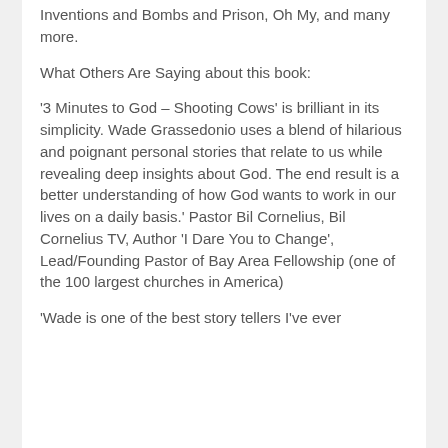Inventions and Bombs and Prison, Oh My, and many more.
What Others Are Saying about this book:
'3 Minutes to God – Shooting Cows' is brilliant in its simplicity. Wade Grassedonio uses a blend of hilarious and poignant personal stories that relate to us while revealing deep insights about God. The end result is a better understanding of how God wants to work in our lives on a daily basis.' Pastor Bil Cornelius, Bil Cornelius TV, Author 'I Dare You to Change', Lead/Founding Pastor of Bay Area Fellowship (one of the 100 largest churches in America)
'Wade is one of the best story tellers I've ever